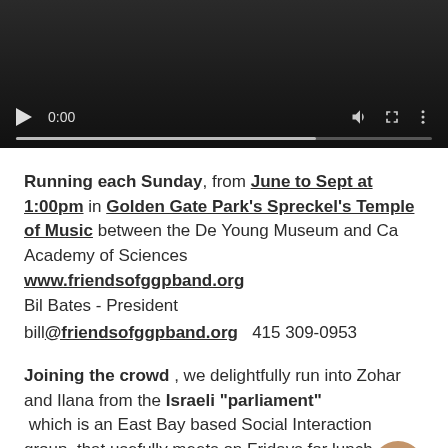[Figure (screenshot): Video player widget with dark background, play button, time display showing 0:00, volume icon, fullscreen icon, more options icon, and a progress bar]
Running each Sunday, from June to Sept at 1:00pm in Golden Gate Park's Spreckel's Temple of Music between the De Young Museum and Ca Academy of Sciences
www.friendsofggpband.org
Bil Bates - President
bill@friendsofggpband.org   415 309-0953
Joining the crowd , we delightfully run into Zohar and Ilana from the Israeli "parliament" which is an East Bay based Social Interaction group, that usefully meets on Fridays for lunch, men and spouses each in